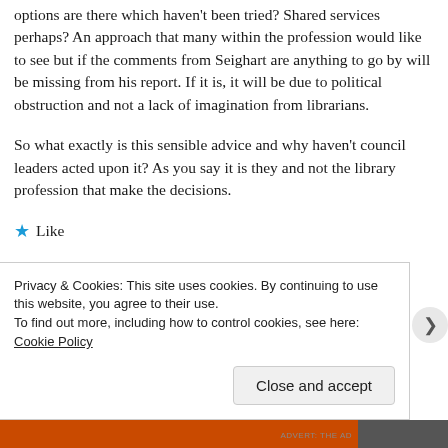options are there which haven't been tried? Shared services perhaps? An approach that many within the profession would like to see but if the comments from Seighart are anything to go by will be missing from his report. If it is, it will be due to political obstruction and not a lack of imagination from librarians.
So what exactly is this sensible advice and why haven't council leaders acted upon it? As you say it is they and not the library profession that make the decisions.
★ Like
↪ REPLY
Privacy & Cookies: This site uses cookies. By continuing to use this website, you agree to their use. To find out more, including how to control cookies, see here: Cookie Policy
Close and accept